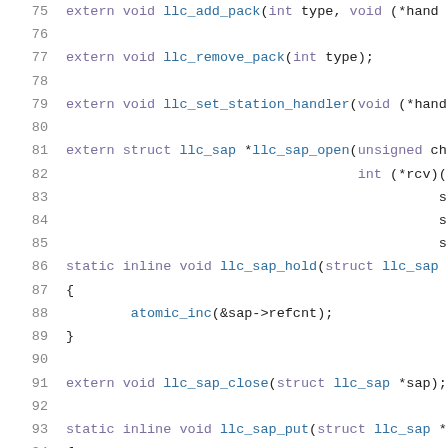[Figure (screenshot): Source code listing showing C header/inline function declarations for LLC (Logical Link Control) functions, lines 75-96. Code uses syntax highlighting: keywords in purple, identifiers/types in blue.]